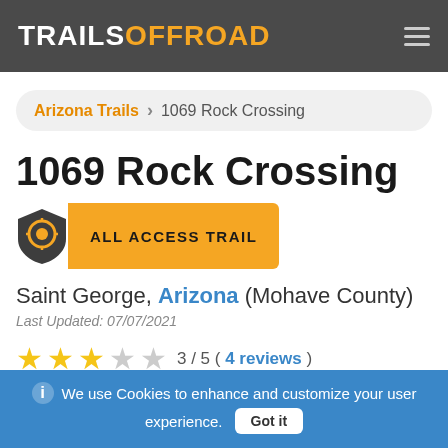TRAILS OFFROAD
Arizona Trails > 1069 Rock Crossing
1069 Rock Crossing
ALL ACCESS TRAIL
Saint George, Arizona (Mohave County)
Last Updated: 07/07/2021
3 / 5 ( 4 reviews )
We use Cookies to enhance and customize your user experience. Got it